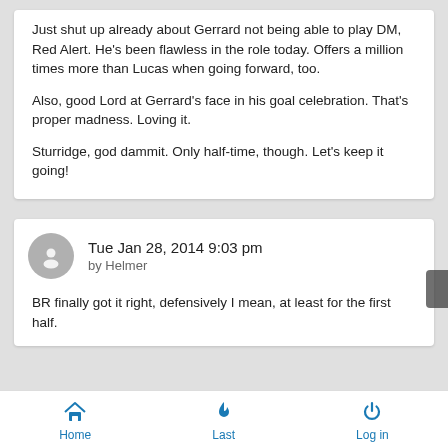Just shut up already about Gerrard not being able to play DM, Red Alert. He's been flawless in the role today. Offers a million times more than Lucas when going forward, too.
Also, good Lord at Gerrard's face in his goal celebration. That's proper madness. Loving it.
Sturridge, god dammit. Only half-time, though. Let's keep it going!
Tue Jan 28, 2014 9:03 pm
by Helmer
BR finally got it right, defensively I mean, at least for the first half.
Home  Last  Log in